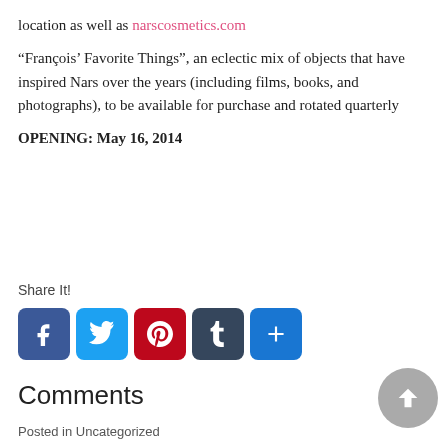location as well as narscosmetics.com
“François’ Favorite Things”, an eclectic mix of objects that have inspired Nars over the years (including films, books, and photographs), to be available for purchase and rotated quarterly
OPENING: May 16, 2014
Share It!
[Figure (other): Social media share buttons: Facebook, Twitter, Pinterest, Tumblr, Share]
Comments
Posted in Uncategorized